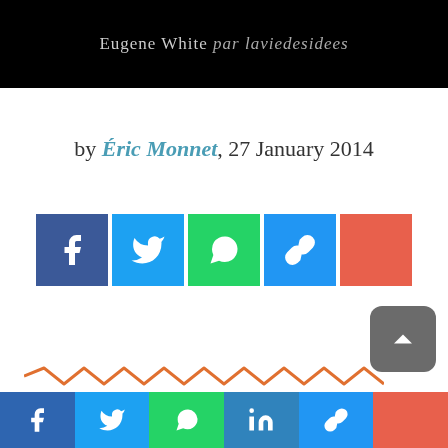[Figure (photo): Dark header image with text: Eugene White par laviedesidees]
by Éric Monnet, 27 January 2014
[Figure (infographic): Row of social share buttons: Facebook, Twitter, WhatsApp, Link, More (+)]
[Figure (infographic): Orange zigzag/wave decorative line]
[Figure (infographic): Footer social bar with icons: Facebook, Twitter, WhatsApp, LinkedIn, Link, More (+)]